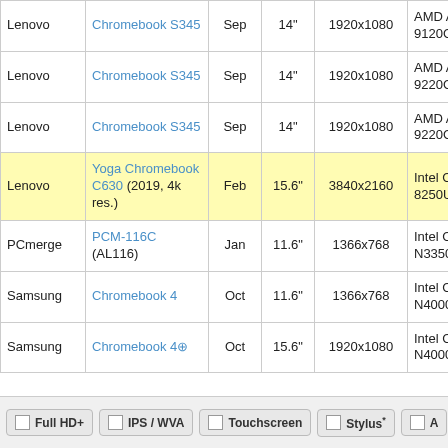| Brand | Model | Month | Size | Resolution | CPU | ... |
| --- | --- | --- | --- | --- | --- | --- |
| Lenovo | Chromebook S345 | Sep | 14" | 1920x1080 | AMD A4-9120C | 1.G |
| Lenovo | Chromebook S345 | Sep | 14" | 1920x1080 | AMD A6-9220C | 1.G |
| Lenovo | Chromebook S345 | Sep | 14" | 1920x1080 | AMD A6-9220C | 1.G |
| Lenovo | Yoga Chromebook C630 (2019, 4k res.) | Feb | 15.6" | 3840x2160 | Intel Core i5 8250U | 1.G |
| PCmerge | PCM-116C (AL116) | Jan | 11.6" | 1366x768 | Intel Celeron N3350 | 1.G |
| Samsung | Chromebook 4 | Oct | 11.6" | 1366x768 | Intel Celeron N4000 | 1.G |
| Samsung | Chromebook 4⊕ | Oct | 15.6" | 1920x1080 | Intel Celeron N4000 | 1.G |
Full HD+
IPS / WVA
Touchscreen
Stylus*
A...